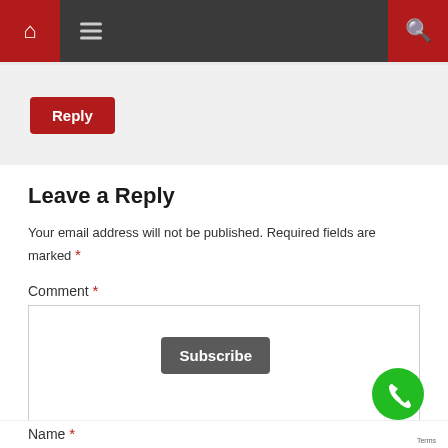[Figure (screenshot): Website navigation bar with home icon on red background left, hamburger menu icon in dark bar, and search icon on red background right]
Reply
Leave a Reply
Your email address will not be published. Required fields are marked *
Comment *
Subscribe
Name *